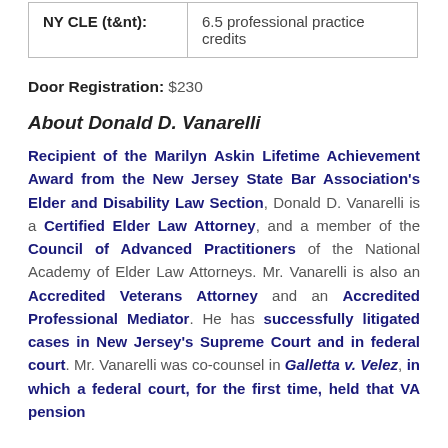| NY CLE (t&nt): | 6.5 professional practice credits |
Door Registration: $230
About Donald D. Vanarelli
Recipient of the Marilyn Askin Lifetime Achievement Award from the New Jersey State Bar Association's Elder and Disability Law Section, Donald D. Vanarelli is a Certified Elder Law Attorney, and a member of the Council of Advanced Practitioners of the National Academy of Elder Law Attorneys. Mr. Vanarelli is also an Accredited Veterans Attorney and an Accredited Professional Mediator. He has successfully litigated cases in New Jersey's Supreme Court and in federal court. Mr. Vanarelli was co-counsel in Galletta v. Velez, in which a federal court, for the first time, held that VA pension